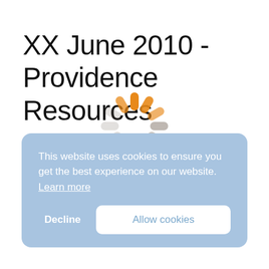XX June 2010 - Providence Resources
[Figure (illustration): Loading spinner graphic with orange and grey pill/dash shapes arranged in a circle, partially overlapping the cookie consent banner]
This website uses cookies to ensure you get the best experience on our website. Learn more
Decline   Allow cookies